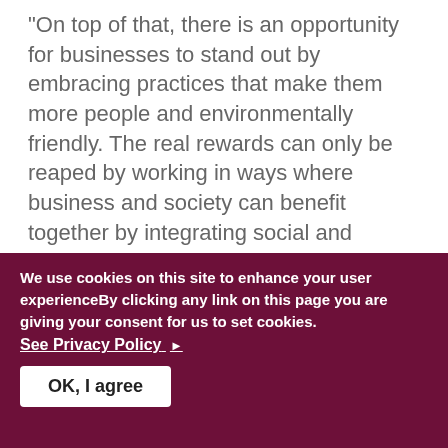“On top of that, there is an opportunity for businesses to stand out by embracing practices that make them more people and environmentally friendly. The real rewards can only be reaped by working in ways where business and society can benefit together by integrating social and environmental factors at the core of business operations.”
//ends.
Notes to editors:
Interview opportunities are available between 8th-13th of September with Lan Mercado, Oxfam in Asia’s
We use cookies on this site to enhance your user experienceBy clicking any link on this page you are giving your consent for us to set cookies.
See Privacy Policy ►
OK, I agree